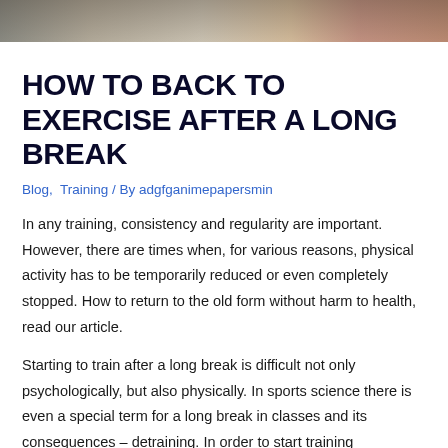[Figure (photo): Top portion of an image showing a person exercising or running, cropped at the top of the page]
HOW TO BACK TO EXERCISE AFTER A LONG BREAK
Blog, Training / By adgfganimepapersmin
In any training, consistency and regularity are important. However, there are times when, for various reasons, physical activity has to be temporarily reduced or even completely stopped. How to return to the old form without harm to health, read our article.
Starting to train after a long break is difficult not only psychologically, but also physically. In sports science there is even a special term for a long break in classes and its consequences – detraining. In order to start training